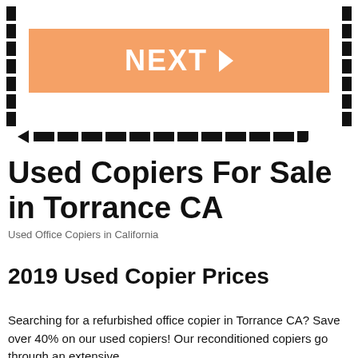[Figure (other): Orange NEXT button with right-pointing triangle arrow, surrounded by a dashed border box with an arrow pointing left at bottom-left corner]
Used Copiers For Sale in Torrance CA
Used Office Copiers in California
2019 Used Copier Prices
Searching for a refurbished office copier in Torrance CA? Save over 40% on our used copiers! Our reconditioned copiers go through an extensive